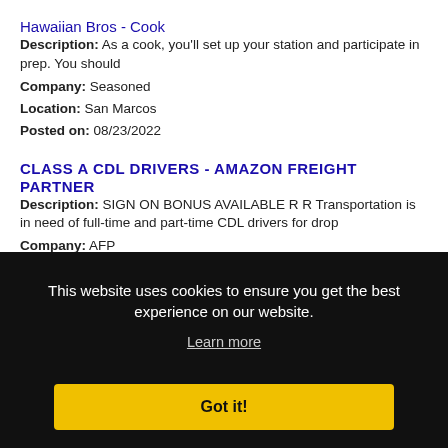Hawaiian Bros - Cook
Description: As a cook, you'll set up your station and participate in prep. You should
Company: Seasoned
Location: San Marcos
Posted on: 08/23/2022
CLASS A CDL DRIVERS - AMAZON FREIGHT PARTNER
Description: SIGN ON BONUS AVAILABLE R R Transportation is in need of full-time and part-time CDL drivers for drop
Company: AFP
This website uses cookies to ensure you get the best experience on our website.
Learn more
Got it!